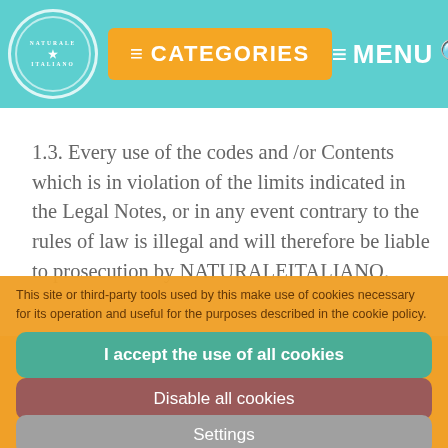CATEGORIES | MENU
1.3. Every use of the codes and /or Contents which is in violation of the limits indicated in the Legal Notes, or in any event contrary to the rules of law is illegal and will therefore be liable to prosecution by NATURALEITALIANO.
1.4. The brand names and the logos 'NATURALEITALIANO', IN... excl... and domains may not be used in any way without the prior written consent of NATURALEITALIANO.
This site or third-party tools used by this make use of cookies necessary for its operation and useful for the purposes described in the cookie policy.
I accept the use of all cookies
Disable all cookies
2. LINKS TO OTHER WEB SITES
2.1 The Site may contain links to other web sites which have no...
Settings